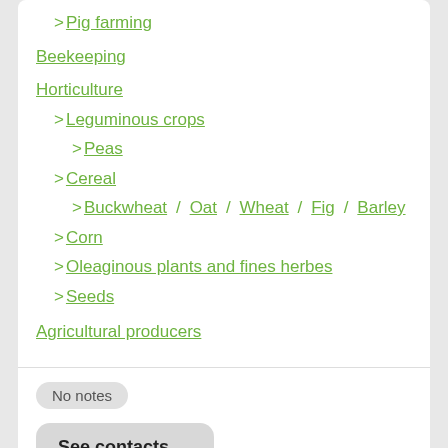> Pig farming
Beekeeping
Horticulture
> Leguminous crops
> Peas
> Cereal
> Buckwheat / Oat / Wheat / Fig / Barley
> Corn
> Oleaginous plants and fines herbes
> Seeds
Agricultural producers
No notes
See contacts
Company: Verified
IM BITTER WITH IO UK